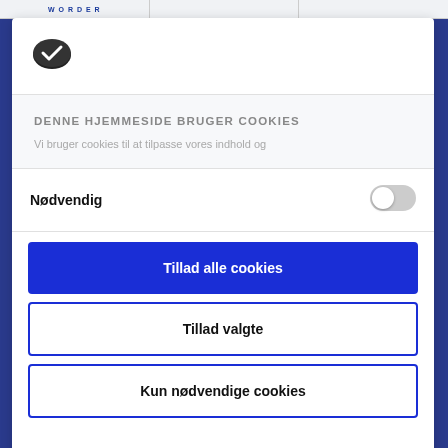[Figure (logo): Cookiebot logo — dark oval cookie icon]
DENNE HJEMMESIDE BRUGER COOKIES
Vi bruger cookies til at tilpasse vores indhold og
Nødvendig
[Figure (other): Toggle switch in off/grey state]
Tillad alle cookies
Tillad valgte
Kun nødvendige cookies
Powered by Cookiebot by Usercentrics